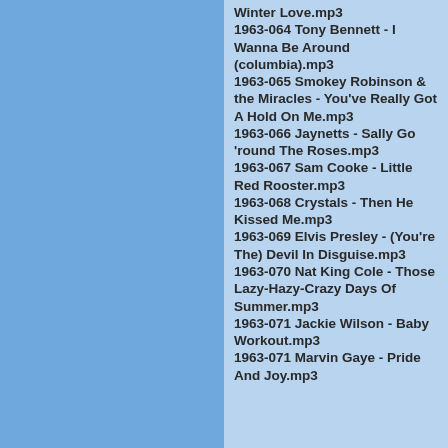Winter Love.mp3
1963-064 Tony Bennett - I Wanna Be Around (columbia).mp3
1963-065 Smokey Robinson & the Miracles - You've Really Got A Hold On Me.mp3
1963-066 Jaynetts - Sally Go 'round The Roses.mp3
1963-067 Sam Cooke - Little Red Rooster.mp3
1963-068 Crystals - Then He Kissed Me.mp3
1963-069 Elvis Presley - (You're The) Devil In Disguise.mp3
1963-070 Nat King Cole - Those Lazy-Hazy-Crazy Days Of Summer.mp3
1963-071 Jackie Wilson - Baby Workout.mp3
1963-071 Marvin Gaye - Pride And Joy.mp3